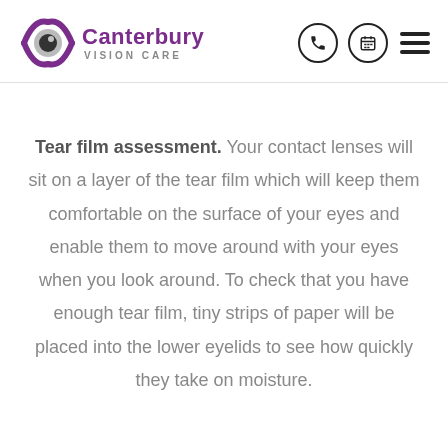[Figure (logo): Canterbury Vision Care logo with purple eye graphic and text]
Tear film assessment. Your contact lenses will sit on a layer of the tear film which will keep them comfortable on the surface of your eyes and enable them to move around with your eyes when you look around. To check that you have enough tear film, tiny strips of paper will be placed into the lower eyelids to see how quickly they take on moisture.